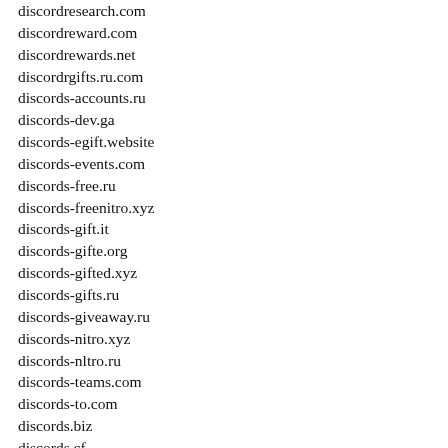discordresearch.com
discordreward.com
discordrewards.net
discordrgifts.ru.com
discords-accounts.ru
discords-dev.ga
discords-egift.website
discords-events.com
discords-free.ru
discords-freenitro.xyz
discords-gift.it
discords-gifte.org
discords-gifted.xyz
discords-gifts.ru
discords-giveaway.ru
discords-nitro.xyz
discords-nltro.ru
discords-teams.com
discords-to.com
discords.biz
discords.cf
discords.co.uk
discords.cool
discords.gift
discords.life
discords...